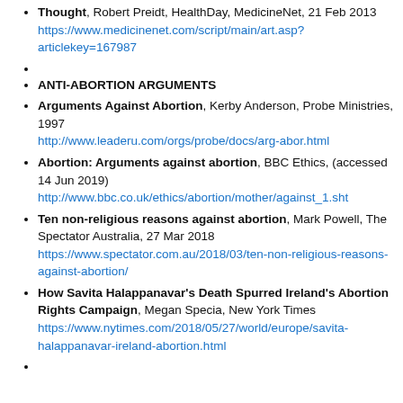Thought, Robert Preidt, HealthDay, MedicineNet, 21 Feb 2013 https://www.medicinenet.com/script/main/art.asp?articlekey=167987
ANTI-ABORTION ARGUMENTS
Arguments Against Abortion, Kerby Anderson, Probe Ministries, 1997 http://www.leaderu.com/orgs/probe/docs/arg-abor.html
Abortion: Arguments against abortion, BBC Ethics, (accessed 14 Jun 2019) http://www.bbc.co.uk/ethics/abortion/mother/against_1.sht
Ten non-religious reasons against abortion, Mark Powell, The Spectator Australia, 27 Mar 2018 https://www.spectator.com.au/2018/03/ten-non-religious-reasons-against-abortion/
How Savita Halappanavar's Death Spurred Ireland's Abortion Rights Campaign, Megan Specia, New York Times https://www.nytimes.com/2018/05/27/world/europe/savita-halappanavar-ireland-abortion.html